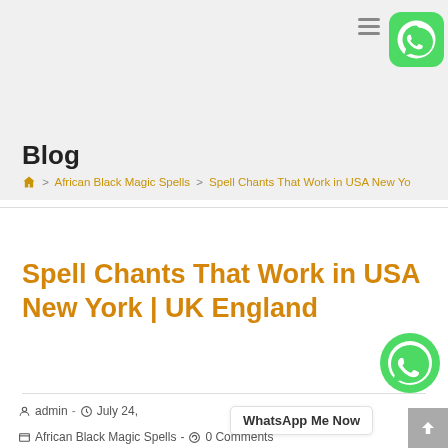Blog
🏠 > African Black Magic Spells > Spell Chants That Work in USA New Yo
Spell Chants That Work in USA New York | UK England
admin  -  July 24,   WhatsApp Me Now
African Black Magic Spells  -  0 Comments